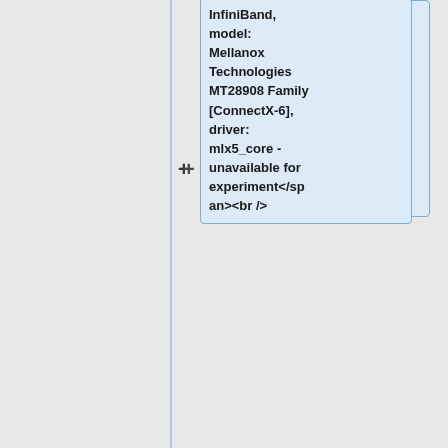InfiniBand, model: Mellanox Technologies MT28908 Family [ConnectX-6], driver: mlx5_core - unavailable for experiment</span><br />
* <span style="color:grey">ib1, InfiniBand, model: Mellanox Technologies MT28908 Family [ConnectX-6], driver: mlx5_core - unavailable for